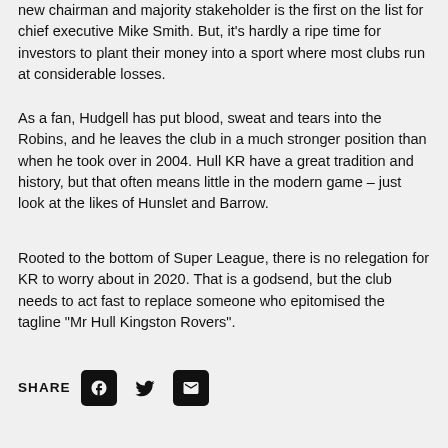new chairman and majority stakeholder is the first on the list for chief executive Mike Smith. But, it's hardly a ripe time for investors to plant their money into a sport where most clubs run at considerable losses.
As a fan, Hudgell has put blood, sweat and tears into the Robins, and he leaves the club in a much stronger position than when he took over in 2004. Hull KR have a great tradition and history, but that often means little in the modern game – just look at the likes of Hunslet and Barrow.
Rooted to the bottom of Super League, there is no relegation for KR to worry about in 2020. That is a godsend, but the club needs to act fast to replace someone who epitomised the tagline "Mr Hull Kingston Rovers".
[Figure (infographic): SHARE row with Facebook, Twitter, and Email icons]